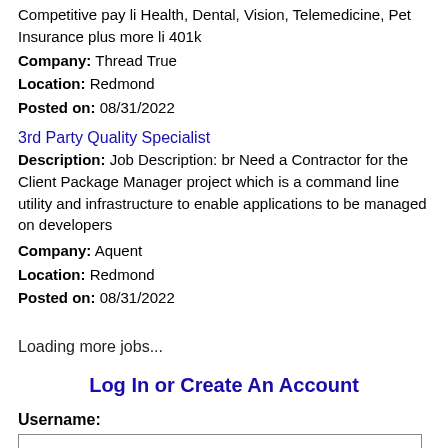Competitive pay li Health, Dental, Vision, Telemedicine, Pet Insurance plus more li 401k
Company: Thread True
Location: Redmond
Posted on: 08/31/2022
3rd Party Quality Specialist
Description: Job Description: br Need a Contractor for the Client Package Manager project which is a command line utility and infrastructure to enable applications to be managed on developers
Company: Aquent
Location: Redmond
Posted on: 08/31/2022
Loading more jobs...
Log In or Create An Account
Username:
Password: